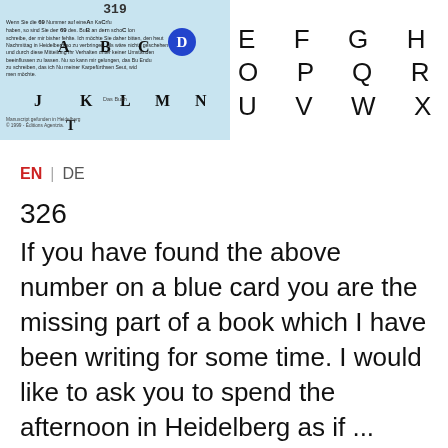[Figure (illustration): A light blue card with number 319, German text, overlaid alphabet letters A, B, C, D (D in blue circle), J, K, L, M, N; alongside an alphabet grid showing letters D through I, O through S, T through Z and #]
EN | DE
326
If you have found the above number on a blue card you are the missing part of a book which I have been writing for some time. I would like to ask you to spend the afternoon in Heidelberg as if ...